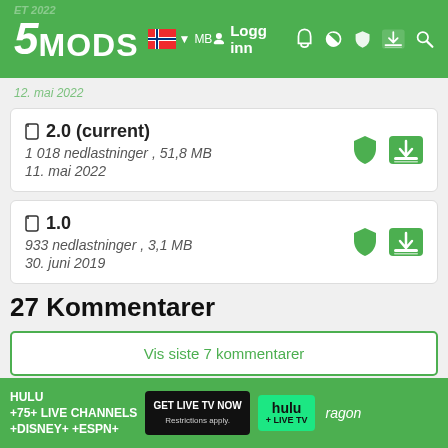5MODS | Logg inn
2.0 (current)
1 018 nedlastninger , 51,8 MB
11. mai 2022
1.0
933 nedlastninger , 3,1 MB
30. juni 2019
27 Kommentarer
Vis siste 7 kommentarer
Saxena Yash
@TheSpeedForce Sir Please Make Dragon Ball Z
[Figure (other): Hulu advertisement banner: HULU +75+ LIVE CHANNELS +DISNEY+ +ESPN+, GET LIVE TV NOW button, hulu + LIVE TV logo]